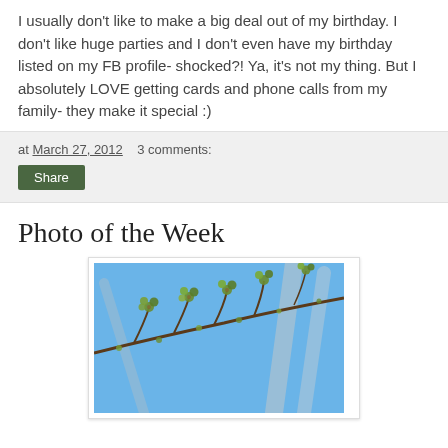I usually don't like to make a big deal out of my birthday.  I don't like huge parties and I don't even have my birthday listed on my FB profile- shocked?! Ya, it's not my thing.  But I absolutely LOVE getting cards and phone calls from my family-  they make it special :)
at March 27, 2012   3 comments:
Share
Photo of the Week
[Figure (photo): Close-up photo of tree branches with small green spring buds against a blue sky]